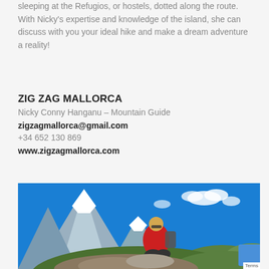sleeping at the Refugios, or hostels, dotted along the route. With Nicky's expertise and knowledge of the island, she can discuss with you your ideal hike and make a dream adventure a reality!
ZIG ZAG MALLORCA
Nicky Conny Hanganu – Mountain Guide
zigzagmallorca@gmail.com
+34 652 130 869
www.zigzagmallorca.com
[Figure (photo): Woman in red jacket with backpack sitting on rocky mountain summit with snow-capped peaks and blue sky in background]